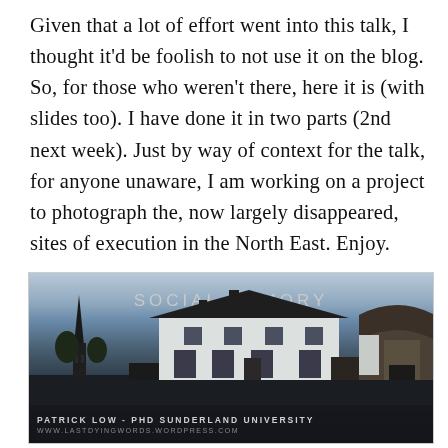Given that a lot of effort went into this talk, I thought it'd be foolish to not use it on the blog. So, for those who weren't there, here it is (with slides too). I have done it in two parts (2nd next week). Just by way of context for the talk, for anyone unaware, I am working on a project to photograph the, now largely disappeared, sites of execution in the North East. Enjoy.
[Figure (photo): A presentation slide titled 'SOCIAL MEMORY' showing a photograph of a white house with a church spire in the background, attributed to Patrick Low - PHD Sunderland University, with website www.lastdyingwords.wordpress.com at the bottom]